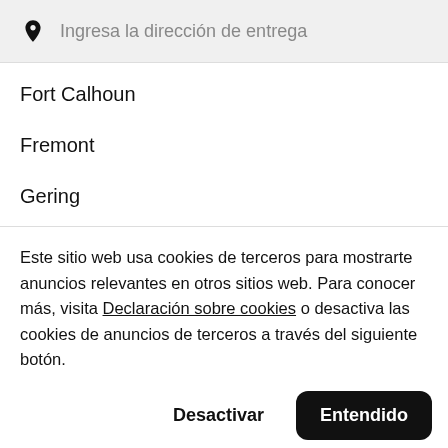Ingresa la dirección de entrega
Fort Calhoun
Fremont
Gering
Este sitio web usa cookies de terceros para mostrarte anuncios relevantes en otros sitios web. Para conocer más, visita Declaración sobre cookies o desactiva las cookies de anuncios de terceros a través del siguiente botón.
Desactivar
Entendido